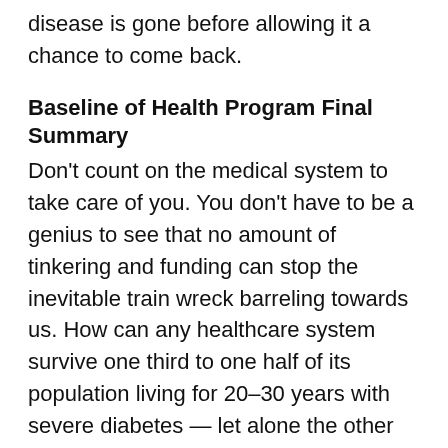disease is gone before allowing it a chance to come back.
Baseline of Health Program Final Summary
Don't count on the medical system to take care of you. You don't have to be a genius to see that no amount of tinkering and funding can stop the inevitable train wreck barreling towards us. How can any healthcare system survive one third to one half of its population living for 20–30 years with severe diabetes — let alone the other half that will suffer from cancer, heart disease, osteoporosis, Alzheimer's, and MS? There isn't enough money in the world to cover it. The only way that healthcare can survive — the only way